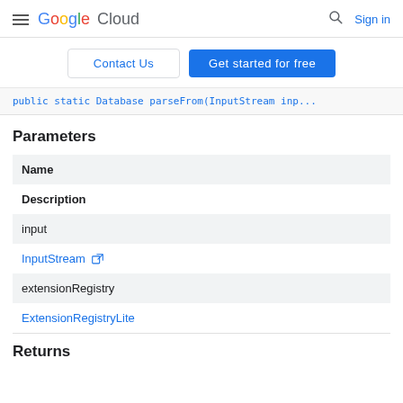Google Cloud — Sign in
Contact Us | Get started for free
public static Database parseFrom(InputStream inp...
Parameters
| Name | Description |
| --- | --- |
| input | InputStream [external link] |
| extensionRegistry | ExtensionRegistryLite |
Returns